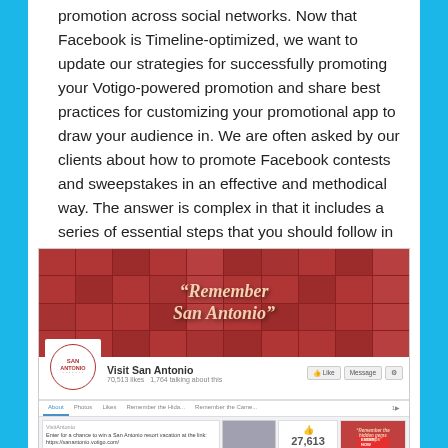promotion across social networks. Now that Facebook is Timeline-optimized, we want to update our strategies for successfully promoting your Votigo-powered promotion and share best practices for customizing your promotional app to draw your audience in. We are often asked by our clients about how to promote Facebook contests and sweepstakes in an effective and methodical way. The answer is complex in that it includes a series of essential steps that you should follow in order to fully engage your audience.
[Figure (screenshot): Screenshot of the Visit San Antonio Facebook page showing the 'Remember San Antonio' cover photo (a red-tinted mosaic), profile picture with San Antonio logo, page name, 27,613 likes, and promotional post thumbnails.]